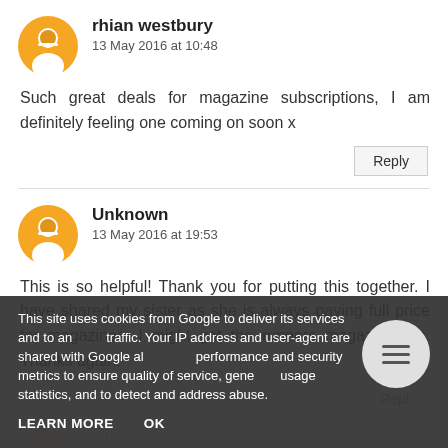rhian westbury
13 May 2016 at 10:48
Such great deals for magazine subscriptions, I am definitely feeling one coming on soon x
Reply
Unknown
13 May 2016 at 19:53
This is so helpful! Thank you for putting this together. I have shared my sister as she is always paying full price for magazines. I might get the runners magazine too. Thanks again!
Reply (partially visible)
helen (partially visible)
13 May 2016 at 10:58 (partially visible)
This site uses cookies from Google to deliver its services and to analyze traffic. Your IP address and user-agent are shared with Google along with performance and security metrics to ensure quality of service, generate usage statistics, and to detect and address abuse.
LEARN MORE
OK